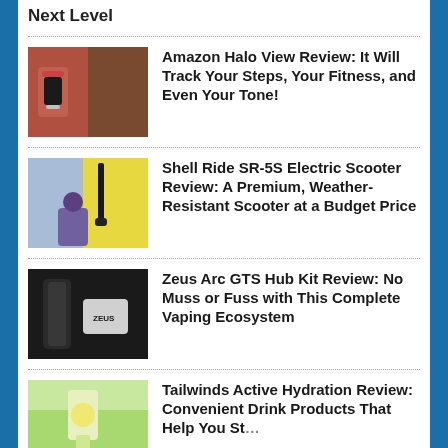Next Level
Amazon Halo View Review: It Will Track Your Steps, Your Fitness, and Even Your Tone!
[Figure (photo): Amazon Halo View smartwatch with red strap on a person's wrist]
Shell Ride SR-5S Electric Scooter Review: A Premium, Weather-Resistant Scooter at a Budget Price
[Figure (photo): Person sitting with electric scooter against yellow and blue background]
Zeus Arc GTS Hub Kit Review: No Muss or Fuss with This Complete Vaping Ecosystem
[Figure (photo): Zeus Arc GTS vaping device kit with accessories on dark background]
Tailwinds Active Hydration Review: Convenient Drink Products That Help You St...
[Figure (photo): Person in yellow tank top with hydration drink product]